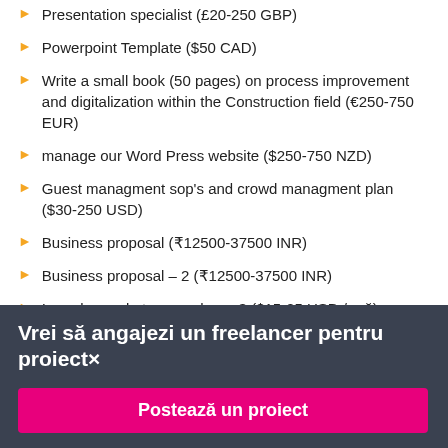Presentation specialist (£20-250 GBP)
Powerpoint Template ($50 CAD)
Write a small book (50 pages) on process improvement and digitalization within the Construction field (€250-750 EUR)
manage our Word Press website ($250-750 NZD)
Guest managment sop's and crowd managment plan ($30-250 USD)
Business proposal (₹12500-37500 INR)
Business proposal – 2 (₹12500-37500 INR)
I need a market researcher – 3 ($15-25 USD / oră)
Vrei să angajezi un freelancer pentru proiect×
Postează un proiect